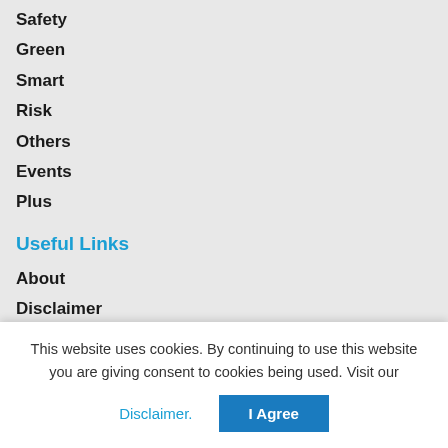Safety
Green
Smart
Risk
Others
Events
Plus
Useful Links
About
Disclaimer
Editorial Policies
Advertising
Contact
This website uses cookies. By continuing to use this website you are giving consent to cookies being used. Visit our Disclaimer.
I Agree